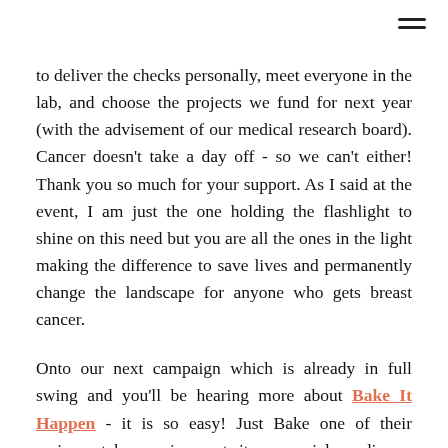[Figure (other): Hamburger menu icon (three horizontal lines) in top-right corner]
to deliver the checks personally, meet everyone in the lab, and choose the projects we fund for next year (with the advisement of our medical research board). Cancer doesn't take a day off - so we can't either! Thank you so much for your support. As I said at the event, I am just the one holding the flashlight to shine on this need but you are all the ones in the light making the difference to save lives and permanently change the landscape for anyone who gets breast cancer.

Onto our next campaign which is already in full swing and you'll be hearing more about Bake It Happen - it is so easy! Just Bake one of their recipes, take a pic, post it on social media and [Support Us button] appen and $5 will